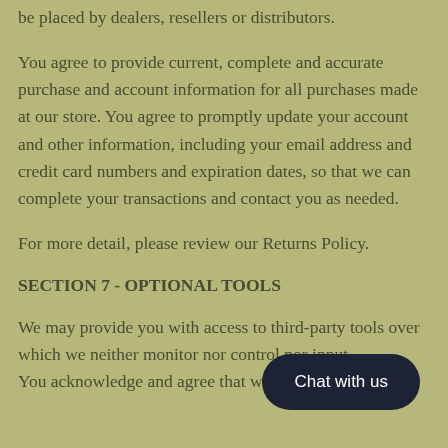be placed by dealers, resellers or distributors.
You agree to provide current, complete and accurate purchase and account information for all purchases made at our store. You agree to promptly update your account and other information, including your email address and credit card numbers and expiration dates, so that we can complete your transactions and contact you as needed.
For more detail, please review our Returns Policy.
SECTION 7 - OPTIONAL TOOLS
We may provide you with access to third-party tools over which we neither monitor nor control nor input.
You acknowledge and agree that we provide access to